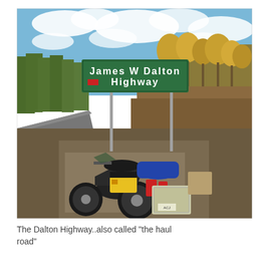[Figure (photo): A loaded motorcycle parked in front of a green highway sign reading 'James W Dalton Highway'. The scene shows a gravel roadside with autumn-colored trees and a blue sky with clouds in the background. The motorcycle has yellow and black panniers, a blue roll bag, red fuel cans, and metal side cases.]
The Dalton Highway..also called "the haul road"